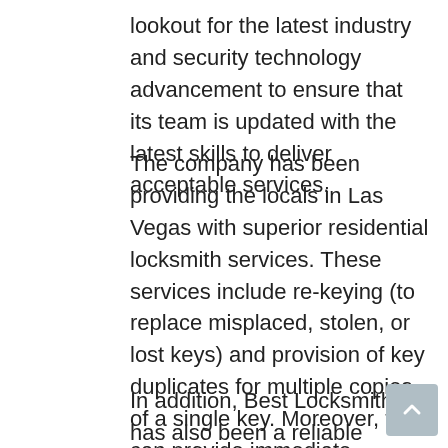lookout for the latest industry and security technology advancement to ensure that its team is updated with the latest skills to deliver acceptable services.
The company has been providing the locals in Las Vegas with superior residential locksmith services. These services include re-keying (to replace misplaced, stolen, or lost keys) and provision of key duplicates for multiple copies of a single key. Moreover, they can provide immediate assistance during emergency lockouts to ensure that homeowners do not waste time stranded outside.
In addition, Best Locksmith has also been a reliable provider of high-quality and durable